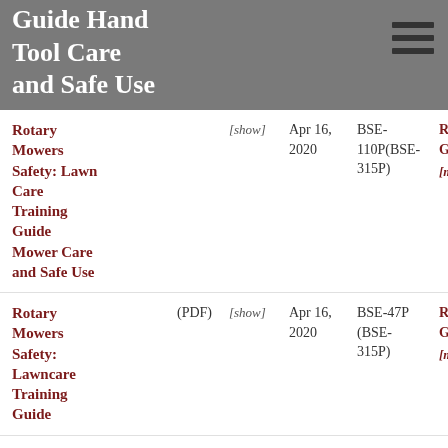Guide Hand Tool Care and Safe Use
| Title | Format | Show | Date | Publication | Author |
| --- | --- | --- | --- | --- | --- |
| Rotary Mowers Safety: Lawn Care Training Guide Mower Care and Safe Use |  | [show] | Apr 16, 2020 | BSE-110P(BSE-315P) | Robert Grisso [more] |
| Rotary Mowers Safety: Lawncare Training Guide | (PDF) | [show] | Apr 16, 2020 | BSE-47P (BSE-315P) | Robert Grisso [more] |